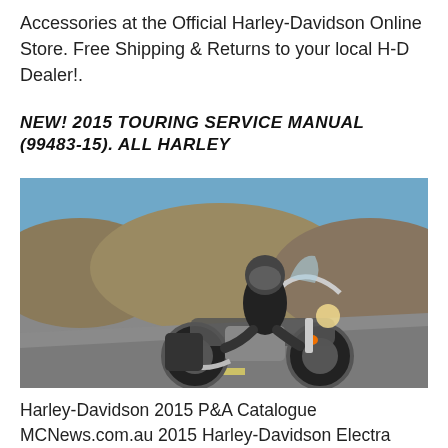Accessories at the Official Harley-Davidson Online Store. Free Shipping & Returns to your local H-D Dealer!.
NEW! 2015 TOURING SERVICE MANUAL (99483-15). ALL HARLEY
[Figure (photo): A motorcyclist wearing a black helmet and leather jacket rides a Harley-Davidson motorcycle on a road with rocky hills in the background.]
Harley-Davidson 2015 P&A Catalogue MCNews.com.au 2015 Harley-Davidson Electra